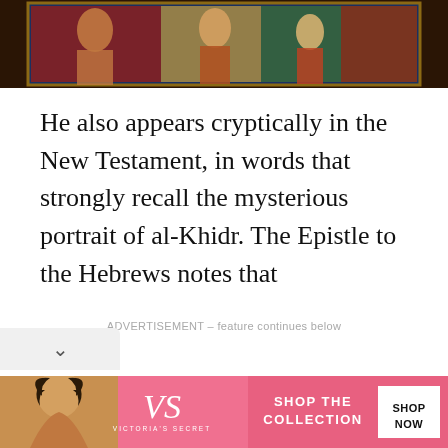[Figure (photo): Partial view of a religious painting showing figures, cropped at top of page]
He also appears cryptically in the New Testament, in words that strongly recall the mysterious portrait of al-Khidr. The Epistle to the Hebrews notes that
ADVERTISEMENT – feature continues below
[Figure (photo): Victoria's Secret advertisement banner with woman, VS logo, and SHOP THE COLLECTION / SHOP NOW text]